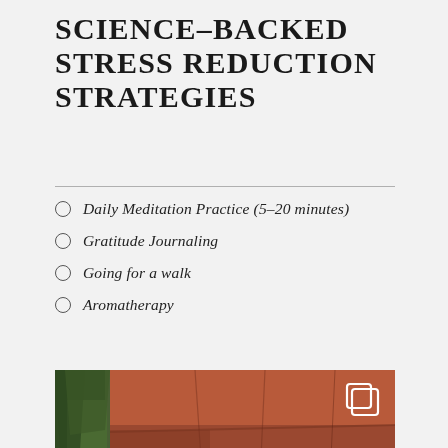SCIENCE-BACKED STRESS REDUCTION STRATEGIES
Daily Meditation Practice (5-20 minutes)
Gratitude Journaling
Going for a walk
Aromatherapy
[Figure (photo): Person with arms raised near red sandstone rock formations beside a stream, with green trees visible on the left. An Instagram copy/share icon appears in the upper right of the image.]